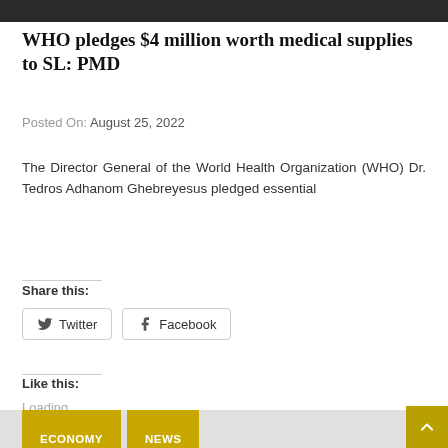[Figure (photo): Dark photo strip at the top of the page]
WHO pledges $4 million worth medical supplies to SL: PMD
Posted On: August 25, 2022
The Director General of the World Health Organization (WHO) Dr. Tedros Adhanom Ghebreyesus pledged essential
Share this:
Twitter
Facebook
Like this:
Loading...